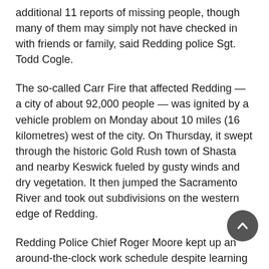additional 11 reports of missing people, though many of them may simply not have checked in with friends or family, said Redding police Sgt. Todd Cogle.
The so-called Carr Fire that affected Redding — a city of about 92,000 people — was ignited by a vehicle problem on Monday about 10 miles (16 kilometres) west of the city. On Thursday, it swept through the historic Gold Rush town of Shasta and nearby Keswick fueled by gusty winds and dry vegetation. It then jumped the Sacramento River and took out subdivisions on the western edge of Redding.
Redding Police Chief Roger Moore kept up an around-the-clock work schedule despite learning that his home was one of those destroyed. He was finally able to shave on Saturday when his wife brought him a razor, he said.